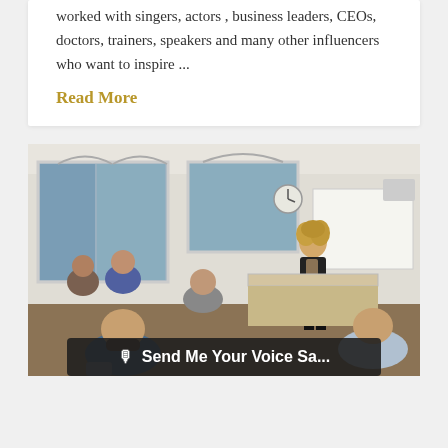worked with singers, actors , business leaders, CEOs, doctors, trainers, speakers and many other influencers who want to inspire ...
Read More
[Figure (photo): A woman with curly blonde hair in a black blazer stands at the front of a classroom presenting to a group of seated students. The room has large arched windows, a whiteboard, a wall clock, and overhead projector equipment.]
🎙 Send Me Your Voice Sa...